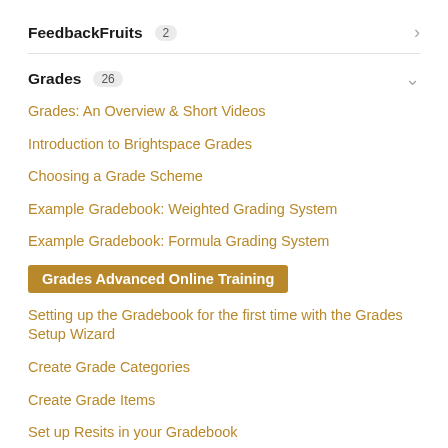FeedbackFruits 2
Grades 26
Grades: An Overview & Short Videos
Introduction to Brightspace Grades
Choosing a Grade Scheme
Example Gradebook: Weighted Grading System
Example Gradebook: Formula Grading System
Grades Advanced Online Training
Setting up the Gradebook for the first time with the Grades Setup Wizard
Create Grade Categories
Create Grade Items
Set up Resits in your Gradebook
How do I attach a grade item to an assignment?
How do I attach a grade item to a quiz?
How do I attach a grade item to a discussion topic?